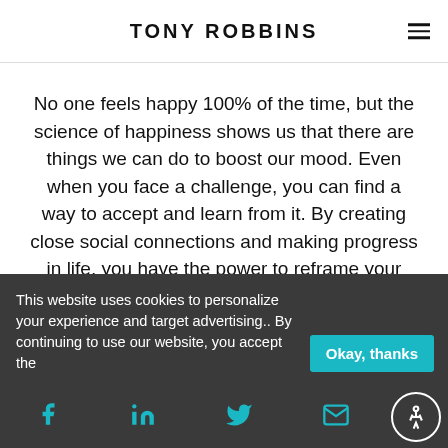TONY ROBBINS
No one feels happy 100% of the time, but the science of happiness shows us that there are things we can do to boost our mood. Even when you face a challenge, you can find a way to accept and learn from it. By creating close social connections and making progress in life, you have the power to reframe your mindset and create a cycle of
This website uses cookies to personalize your experience and target advertising.. By continuing to use our website, you accept the
Okay, thanks